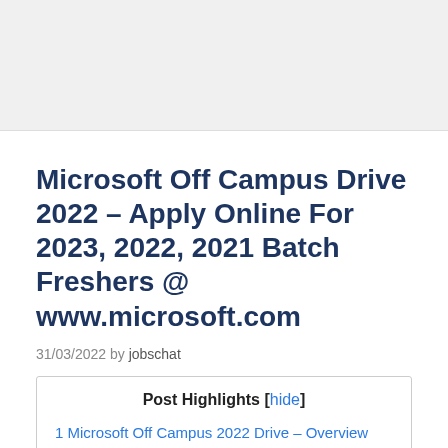[Figure (other): Advertisement banner at top of page]
Microsoft Off Campus Drive 2022 – Apply Online For 2023, 2022, 2021 Batch Freshers @ www.microsoft.com
31/03/2022 by jobschat
Post Highlights [hide]
1 Microsoft Off Campus 2022 Drive – Overview
2 Microsoft Off Campus 2022 Drive